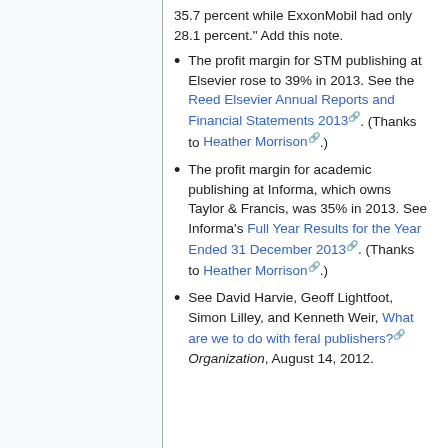35.7 percent while ExxonMobil had only 28.1 percent." Add this note.
The profit margin for STM publishing at Elsevier rose to 39% in 2013. See the Reed Elsevier Annual Reports and Financial Statements 2013. (Thanks to Heather Morrison.)
The profit margin for academic publishing at Informa, which owns Taylor & Francis, was 35% in 2013. See Informa's Full Year Results for the Year Ended 31 December 2013. (Thanks to Heather Morrison.)
See David Harvie, Geoff Lightfoot, Simon Lilley, and Kenneth Weir, What are we to do with feral publishers? Organization, August 14, 2012.